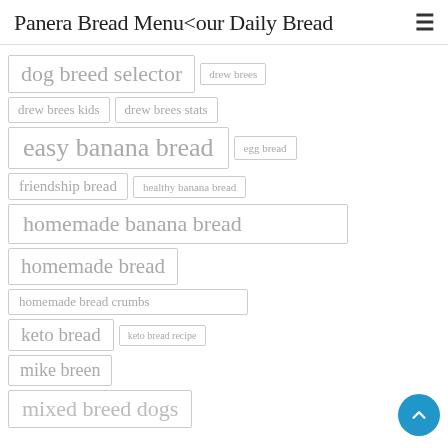Panera Bread Menu<our Daily Bread
dog breed selector
drew brees
drew brees kids
drew brees stats
easy banana bread
egg bread
friendship bread
healthy banana bread
homemade banana bread
homemade bread
homemade bread crumbs
keto bread
keto bread recipe
mike breen
mixed breed dogs